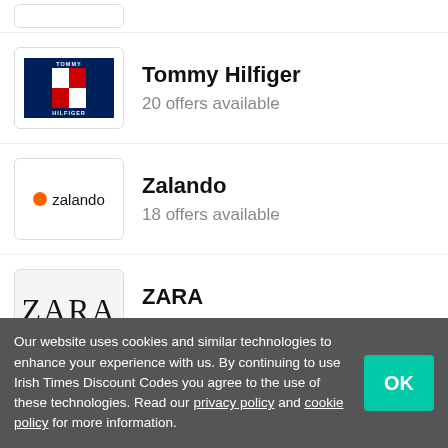Tommy Hilfiger – 20 offers available
Zalando – 18 offers available
ZARA – 11 offers available
Birkenstock – 7 offers available
Our website uses cookies and similar technologies to enhance your experience with us. By continuing to use Irish Times Discount Codes you agree to the use of these technologies. Read our privacy policy and cookie policy for more information.